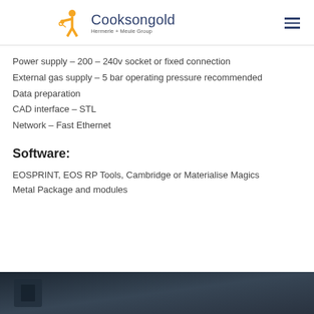Cooksongold — Hermerle + Meule Group
Power supply – 200 – 240v socket or fixed connection
External gas supply – 5 bar operating pressure recommended
Data preparation
CAD interface – STL
Network – Fast Ethernet
Software:
EOSPRINT, EOS RP Tools, Cambridge or Materialise Magics Metal Package and modules
[Figure (photo): Dark photo strip at bottom of page showing industrial/manufacturing equipment]